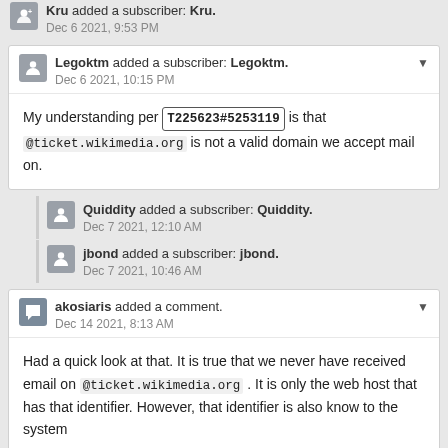Kru added a subscriber: Kru.
Dec 6 2021, 9:53 PM
Legoktm added a subscriber: Legoktm.
Dec 6 2021, 10:15 PM
My understanding per T225623#5253119 is that @ticket.wikimedia.org is not a valid domain we accept mail on.
Quiddity added a subscriber: Quiddity.
Dec 7 2021, 12:10 AM
jbond added a subscriber: jbond.
Dec 7 2021, 10:46 AM
akosiaris added a comment.
Dec 14 2021, 8:13 AM
Had a quick look at that. It is true that we never have received email on @ticket.wikimedia.org . It is only the web host that has that identifier. However, that identifier is also know to the system